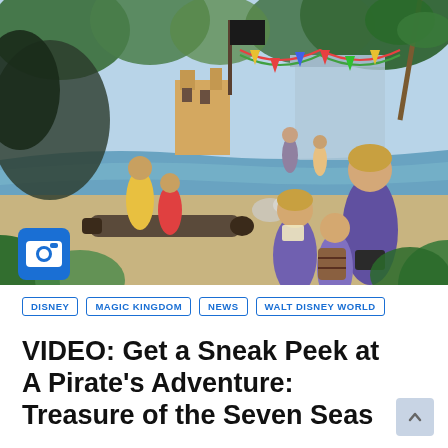[Figure (illustration): Illustrated scene of a pirate-themed attraction at a theme park. Shows a tropical waterway with a cannon in the foreground, visitors including a woman with a camera bag and children, colorful bunting, pirate ship elements, palm trees, and a pirate flag in the background. A blue camera icon badge is overlaid in the lower-left corner.]
DISNEY
MAGIC KINGDOM
NEWS
WALT DISNEY WORLD
VIDEO: Get a Sneak Peek at A Pirate's Adventure: Treasure of the Seven Seas